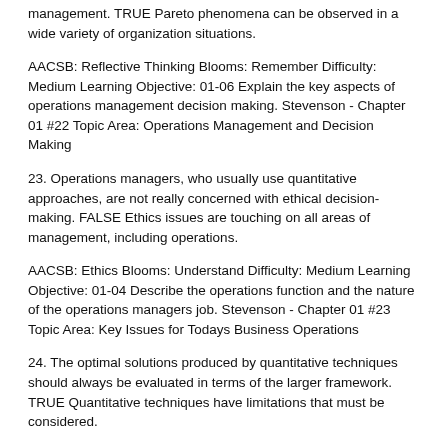management. TRUE Pareto phenomena can be observed in a wide variety of organization situations.
AACSB: Reflective Thinking Blooms: Remember Difficulty: Medium Learning Objective: 01-06 Explain the key aspects of operations management decision making. Stevenson - Chapter 01 #22 Topic Area: Operations Management and Decision Making
23. Operations managers, who usually use quantitative approaches, are not really concerned with ethical decision-making. FALSE Ethics issues are touching on all areas of management, including operations.
AACSB: Ethics Blooms: Understand Difficulty: Medium Learning Objective: 01-04 Describe the operations function and the nature of the operations managers job. Stevenson - Chapter 01 #23 Topic Area: Key Issues for Todays Business Operations
24. The optimal solutions produced by quantitative techniques should always be evaluated in terms of the larger framework. TRUE Quantitative techniques have limitations that must be considered.